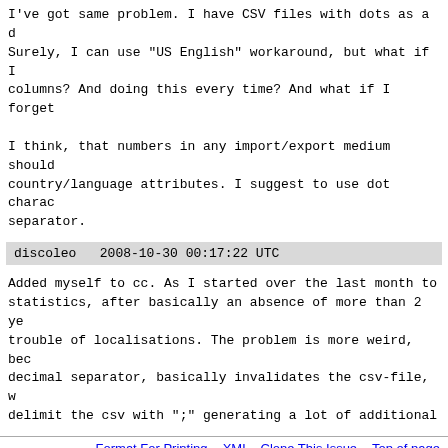I've got same problem. I have CSV files with dots as a d Surely, I can use "US English" workaround, but what if I columns? And doing this every time? And what if I forget

I think, that numbers in any import/export medium should country/language attributes. I suggest to use dot charac separator.
discoleo   2008-10-30 00:17:22 UTC
Added myself to cc. As I started over the last month to statistics, after basically an absence of more than 2 ye trouble of localisations. The problem is more weird, bec decimal separator, basically invalidates the csv-file, w delimit the csv with ";" generating a lot of additional
Format For Printing - XML - Clone This Issue - Top of page
This is Apache OpenOffice (AOO) Bugzilla: the Apache OpenOffice (AOO) bug system. In case of problems with the functioning of Apache OpenOffice (AOO) Bugzilla, please contact aoo-bugzilla-admin@apache.org. Please Note: this e-mail address is only for reporting problems with Apache OpenOffice (AOO) Bugzilla. Mail about any other subject will be silently ignored.
Home | New | Browse | Search | [search box] Search [?] | Reports | Requests | Help | Log In | Forgot Password